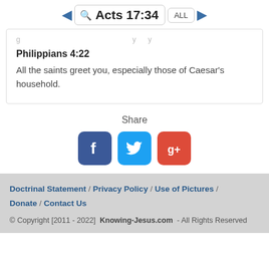Acts 17:34 ALL
[partial text cut off at top]
Philippians 4:22
All the saints greet you, especially those of Caesar's household.
Share
[Figure (illustration): Social sharing icons: Facebook (blue), Twitter (light blue), Google+ (red)]
Doctrinal Statement / Privacy Policy / Use of Pictures / Donate / Contact Us
© Copyright [2011 - 2022] Knowing-Jesus.com - All Rights Reserved